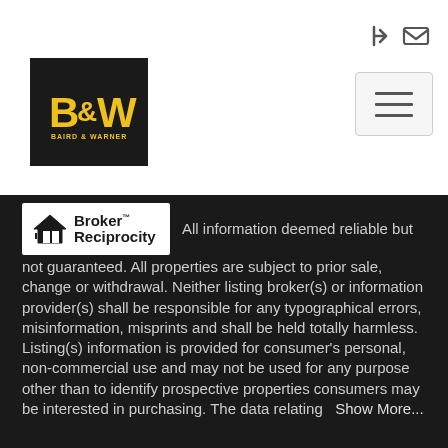[Figure (logo): Baird & Warner B&W logo in black box with yellow text]
[Figure (other): Navigation icons: login arrow and email envelope icons]
[Figure (other): Hamburger menu button with three horizontal bars]
All information deemed reliable but not guaranteed. All properties are subject to prior sale, change or withdrawal. Neither listing broker(s) or information provider(s) shall be responsible for any typographical errors, misinformation, misprints and shall be held totally harmless. Listing(s) information is provided for consumer's personal, non-commercial use and may not be used for any purpose other than to identify prospective properties consumers may be interested in purchasing. The data relating   Show More...